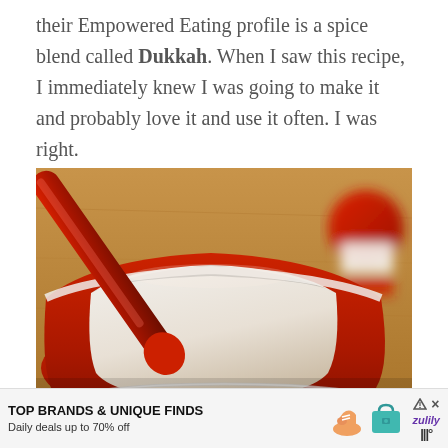their Empowered Eating profile is a spice blend called Dukkah. When I saw this recipe, I immediately knew I was going to make it and probably love it and use it often. I was right.
[Figure (photo): Close-up photo of a red mortar and pestle (Le Creuset style) on a wooden surface, with a red spice jar in the background and a glass bowl rim visible at the bottom.]
TOP BRANDS & UNIQUE FINDS
Daily deals up to 70% off